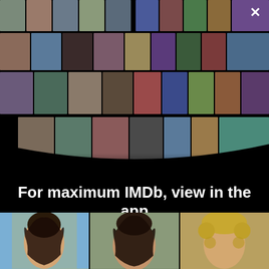[Figure (photo): A collage of celebrity headshots and movie posters arranged in a perspective 3D fan/grid on a black background, promoting the IMDb app.]
×
For maximum IMDb, view in the app
Get the app
[Figure (photo): Three actor headshots shown at the bottom of the page: a young Asian woman on the left (blue background), a young man in the center, and a curly-haired blonde woman on the right.]